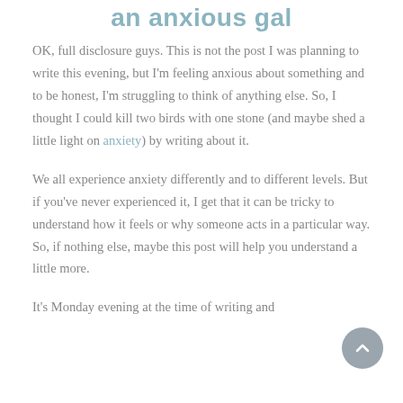an anxious gal
OK, full disclosure guys. This is not the post I was planning to write this evening, but I'm feeling anxious about something and to be honest, I'm struggling to think of anything else. So, I thought I could kill two birds with one stone (and maybe shed a little light on anxiety) by writing about it.
We all experience anxiety differently and to different levels. But if you've never experienced it, I get that it can be tricky to understand how it feels or why someone acts in a particular way. So, if nothing else, maybe this post will help you understand a little more.
It's Monday evening at the time of writing and